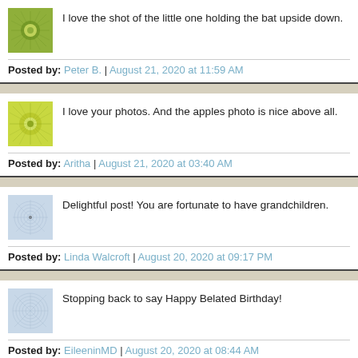I love the shot of the little one holding the bat upside down.
Posted by: Peter B. | August 21, 2020 at 11:59 AM
I love your photos. And the apples photo is nice above all.
Posted by: Aritha | August 21, 2020 at 03:40 AM
Delightful post! You are fortunate to have grandchildren.
Posted by: Linda Walcroft | August 20, 2020 at 09:17 PM
Stopping back to say Happy Belated Birthday!
Posted by: EileeninMD | August 20, 2020 at 08:44 AM